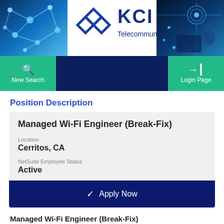[Figure (logo): KCI Telecommunications company banner with network/tech imagery on left and right sides and KCI logo in center]
[Figure (screenshot): Navigation bar with green 'New Search' button on left, dark navy center area, and green 'Login Page' button on right]
Position Description
Managed Wi-Fi Engineer (Break-Fix)
Location
Cerritos, CA
NetSuite Employee Status
Active
Apply Now
Managed Wi-Fi Engineer (Break-Fix)